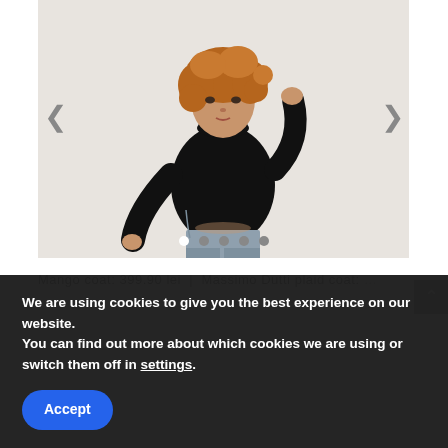[Figure (photo): Fashion product photo showing a woman model with curly auburn hair wearing a black turtleneck top and grey trousers, posed against a light beige background. Navigation arrows on left and right sides, carousel dots at bottom.]
Mango coat: 399.90 lei | Massimo Dutti plaid coat: …
We are using cookies to give you the best experience on our website.
You can find out more about which cookies we are using or switch them off in settings.